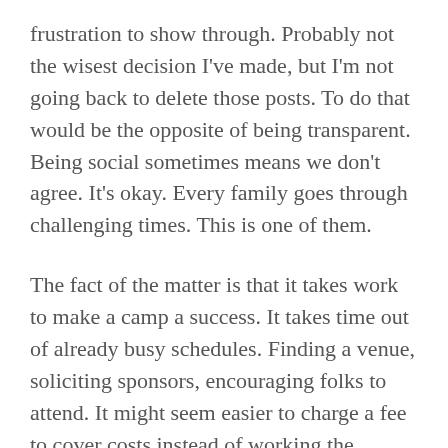frustration to show through. Probably not the wisest decision I've made, but I'm not going back to delete those posts. To do that would be the opposite of being transparent. Being social sometimes means we don't agree. It's okay. Every family goes through challenging times. This is one of them.
The fact of the matter is that it takes work to make a camp a success. It takes time out of already busy schedules. Finding a venue, soliciting sponsors, encouraging folks to attend. It might seem easier to charge a fee to cover costs instead of working the sponsorship model.